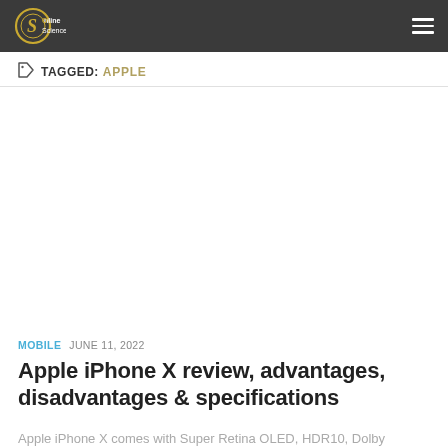Online Sciences
TAGGED: APPLE
[Figure (other): Advertisement / blank white space placeholder]
MOBILE  JUNE 11, 2022
Apple iPhone X review, advantages, disadvantages & specifications
Apple iPhone X comes with Super Retina OLED, HDR10, Dolby